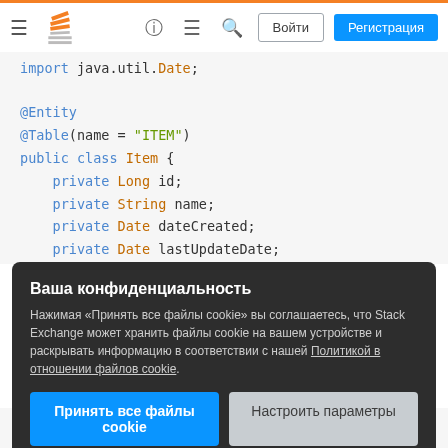Stack Overflow navigation bar with logo, help, chat, search, login and register buttons
[Figure (screenshot): Code snippet showing Java entity class with @Entity @Table annotations and private fields]
Ваша конфиденциальность
Нажимая «Принять все файлы cookie» вы соглашаетесь, что Stack Exchange может хранить файлы cookie на вашем устройстве и раскрывать информацию в соответствии с нашей Политикой в отношении файлов cookie.
@GeneratedValue(strategy = GenerationTy